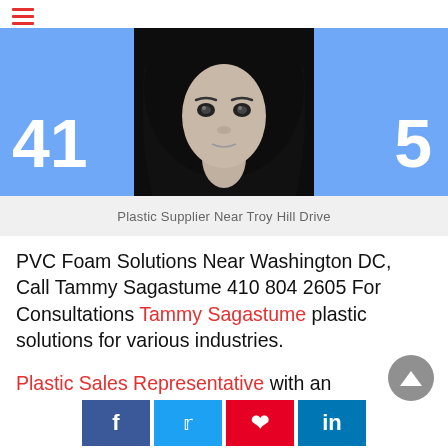≡
[Figure (photo): Black and white portrait photo of a woman with long dark hair, centered in a blue banner showing partial phone number 410...5]
Plastic Supplier Near Troy Hill Drive
PVC Foam Solutions Near Washington DC, Call Tammy Sagastume 410 804 2605 For Consultations Tammy Sagastume plastic solutions for various industries.
Plastic Sales Representative with an outstanding record of effectively assessing customer's needs, product management, and building successful long-term